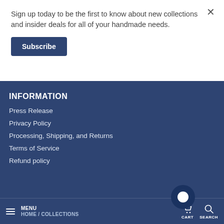Sign up today to be the first to know about new collections and insider deals for all of your handmade needs.
Subscribe
INFORMATION
Press Release
Privacy Policy
Processing, Shipping, and Returns
Terms of Service
Refund policy
MENU  HOME / COLLECTIONS  CART  SEARCH